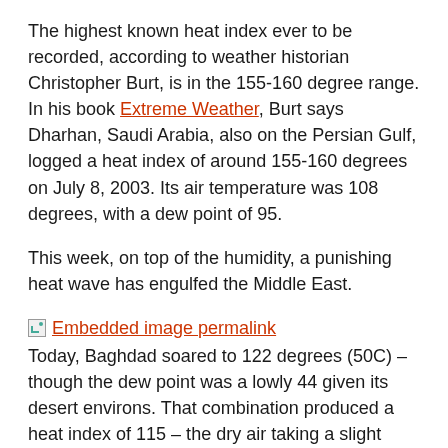The highest known heat index ever to be recorded, according to weather historian Christopher Burt, is in the 155-160 degree range. In his book Extreme Weather, Burt says Dharhan, Saudi Arabia, also on the Persian Gulf, logged a heat index of around 155-160 degrees on July 8, 2003. Its air temperature was 108 degrees, with a dew point of 95.
This week, on top of the humidity, a punishing heat wave has engulfed the Middle East.
[Figure (other): Embedded image permalink icon with link text]
Today, Baghdad soared to 122 degrees (50C) – though the dew point was a lowly 44 given its desert environs. That combination produced a heat index of 115 – the dry air taking a slight edge off the blistering temperatures.